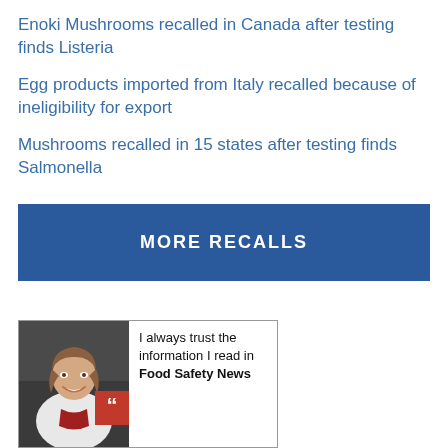Enoki Mushrooms recalled in Canada after testing finds Listeria
Egg products imported from Italy recalled because of ineligibility for export
Mushrooms recalled in 15 states after testing finds Salmonella
MORE RECALLS
[Figure (photo): Advertisement featuring a smiling woman in a white coat with a red quote-mark box overlay and text: I always trust the information I read in Food Safety News]